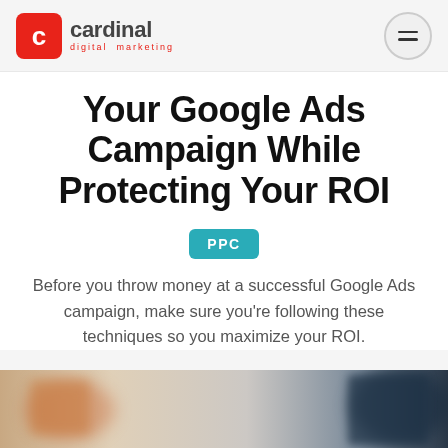Cardinal Digital Marketing
Your Google Ads Campaign While Protecting Your ROI
PPC
Before you throw money at a successful Google Ads campaign, make sure you're following these techniques so you maximize your ROI.
[Figure (photo): Blurred background photo showing an office/workspace environment, partially visible at the bottom of the page.]